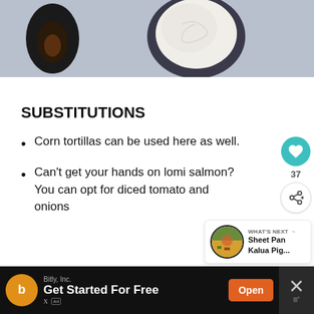[Figure (photo): Top-down view of an avocado half and a bowl with white cream/spread on a grey surface]
SUBSTITUTIONS
Corn tortillas can be used here as well.
Can't get your hands on lomi salmon? You can opt for diced tomato and onions
[Figure (infographic): What's Next widget showing Sheet Pan Kalua Pig...]
[Figure (other): Advertisement banner: Bitly, Inc. - Get Started For Free - Open button]